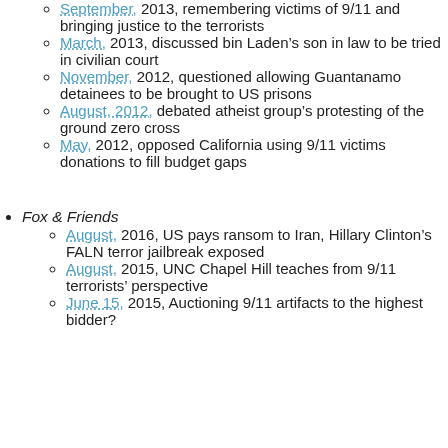September, 2013, remembering victims of 9/11 and bringing justice to the terrorists
March, 2013, discussed bin Laden's son in law to be tried in civilian court
November, 2012, questioned allowing Guantanamo detainees to be brought to US prisons
August, 2012, debated atheist group's protesting of the ground zero cross
May, 2012, opposed California using 9/11 victims donations to fill budget gaps
Fox & Friends
August, 2016, US pays ransom to Iran, Hillary Clinton's FALN terror jailbreak exposed
August, 2015, UNC Chapel Hill teaches from 9/11 terrorists' perspective
June 15, 2015, Auctioning 9/11 artifacts to the highest bidder?